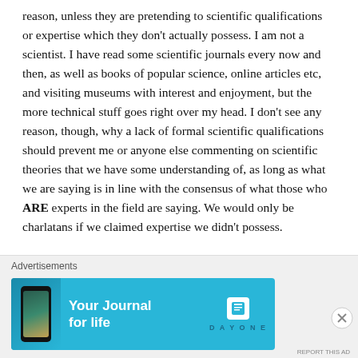reason, unless they are pretending to scientific qualifications or expertise which they don't actually possess. I am not a scientist. I have read some scientific journals every now and then, as well as books of popular science, online articles etc, and visiting museums with interest and enjoyment, but the more technical stuff goes right over my head. I don't see any reason, though, why a lack of formal scientific qualifications should prevent me or anyone else commenting on scientific theories that we have some understanding of, as long as what we are saying is in line with the consensus of what those who ARE experts in the field are saying. We would only be charlatans if we claimed expertise we didn't possess.
Advertisements
[Figure (infographic): Advertisement banner for 'Day One' app with text 'Your Journal for life' on a light blue background, featuring a phone image on the left and Day One logo on the right.]